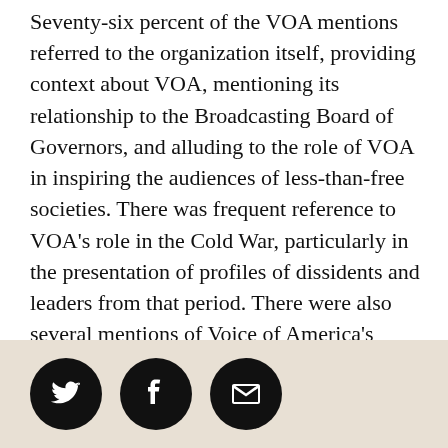Seventy-six percent of the VOA mentions referred to the organization itself, providing context about VOA, mentioning its relationship to the Broadcasting Board of Governors, and alluding to the role of VOA in inspiring the audiences of less-than-free societies. There was frequent reference to VOA's role in the Cold War, particularly in the presentation of profiles of dissidents and leaders from that period. There were also several mentions of Voice of America's continued efforts to provide content to audiences in China and Iran in addition to those governments' ongoing efforts to block delivery of such content.
Only 12 percent of the references to Voice of America directly quoted reporting done by the broadcaster and just another 3 percent of the references used
[Figure (other): Social media share buttons: Twitter bird icon, Facebook f icon, and envelope/email icon, each in a black circle, on a beige/tan background bar at the bottom of the page.]